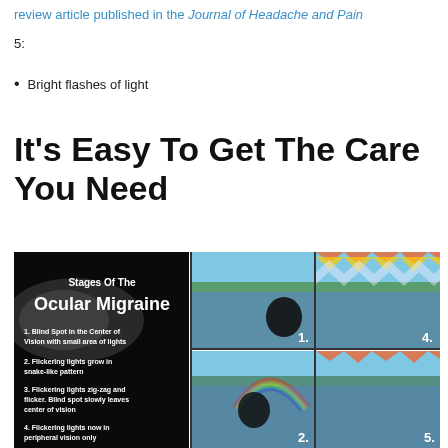review article published in the Journal of Headache and Pain
5:
Bright flashes of light
It's Easy To Get The Care You Need
[Figure (infographic): Stages of the Ocular Migraine infographic showing a black panel on the left with text describing 4 stages, and on the right a 2x2 grid of photos showing a harbor scene with progressive visual disturbances numbered 1, 2, 4, 5.]